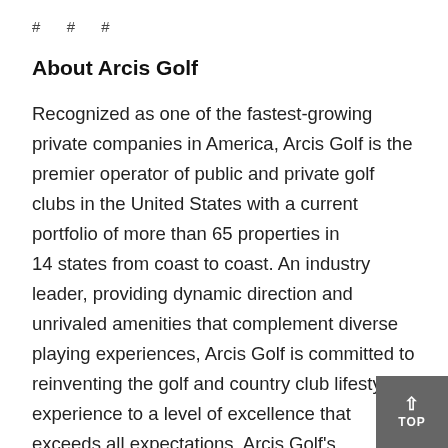# # #
About Arcis Golf
Recognized as one of the fastest-growing private companies in America, Arcis Golf is the premier operator of public and private golf clubs in the United States with a current portfolio of more than 65 properties in 14 states from coast to coast. An industry leader, providing dynamic direction and unrivaled amenities that complement diverse playing experiences, Arcis Golf is committed to reinventing the golf and country club lifestyle experience to a level of excellence that exceeds all expectations. Arcis Golf's allocation of more than $60 million in major capital improvements to its facilities has resulted